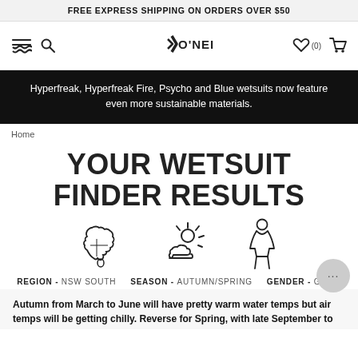FREE EXPRESS SHIPPING ON ORDERS OVER $50
[Figure (logo): O'Neill surfwear logo with navigation icons: hamburger menu, search, heart (0), cart]
Hyperfreak, Hyperfreak Fire, Psycho and Blue wetsuits now feature even more sustainable materials.
Home
YOUR WETSUIT FINDER RESULTS
[Figure (illustration): Three icons: Australia map outline, partly cloudy sun icon, female figure icon]
REGION - NSW SOUTH   SEASON - AUTUMN/SPRING   GENDER - GIRLS
Autumn from March to June will have pretty warm water temps but air temps will be getting chilly. Reverse for Spring, with late September to